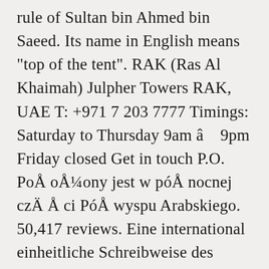rule of Sultan bin Ahmed bin Saeed. Its name in English means "top of the tent". RAK (Ras Al Khaimah) Julpher Towers RAK, UAE T: +971 7 203 7777 Timings: Saturday to Thursday 9am â 9pm Friday closed Get in touch P.O. PoÅoÅ¼ony jest w póÅnocnej czÄÅci PóÅwyspu Arabskiego. 50,417 reviews. Eine international einheitliche Schreibweise des Wüstenstaates konnte sich bis heute nicht durchsetzen: Ihr werdet sicher auf Raâs al-Chaima, Raâs al-á¸¥aima oder kurz RAK stoßen. Its geography consists of a northern part (where Ras Al Khaimah City and most towns are situated) and a large southerly inland exclave (near the Dubai exclave of Hatta), and a few small islands in the Persian Gulf. The